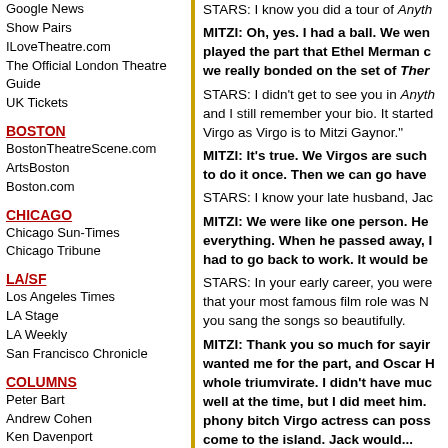Google News
Show Pairs
ILoveTheatre.com
The Official London Theatre Guide
UK Tickets
BOSTON
BostonTheatreScene.com
ArtsBoston
Boston.com
CHICAGO
Chicago Sun-Times
Chicago Tribune
LA/SF
Los Angeles Times
LA Stage
LA Weekly
San Francisco Chronicle
COLUMNS
Peter Bart
Andrew Cohen
Ken Davenport
Tim Dunleavy
Peter Filichia
Andrew Gans
Ernio Hernandez
Harry Haun
Chad Jones
STARS: I know you did a tour of Anyth
MITZI: Oh, yes. I had a ball. We went played the part that Ethel Merman c we really bonded on the set of Ther
STARS: I didn't get to see you in Anyth and I still remember your bio. It started Virgo as Virgo is to Mitzi Gaynor."
MITZI: It's true. We Virgos are such to do it once. Then we can go have
STARS: I know your late husband, Jac
MITZI: We were like one person. He everything. When he passed away, I had to go back to work. It would be
STARS: In your early career, you were that your most famous film role was N you sang the songs so beautifully.
MITZI: Thank you so much for sayir wanted me for the part, and Oscar H whole triumvirate. I didn't have muc well at the time, but I did meet him. phony bitch Virgo actress can poss come to the island. Jack would...